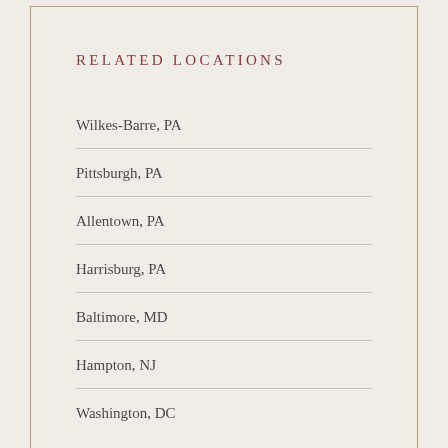RELATED LOCATIONS
Wilkes-Barre, PA
Pittsburgh, PA
Allentown, PA
Harrisburg, PA
Baltimore, MD
Hampton, NJ
Washington, DC